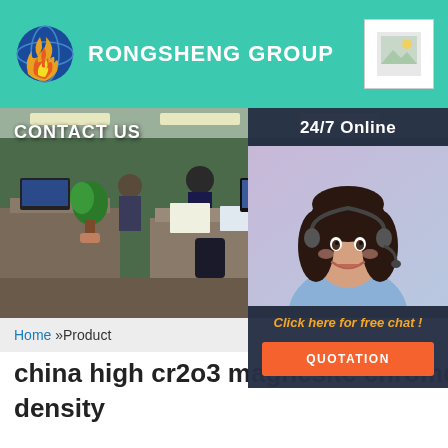RONGSHENG GROUP
[Figure (photo): Office interior with workers, plants, and desks. CONTACT US label overlay.]
[Figure (photo): 24/7 Online chat widget with female agent wearing headset, Click here for free chat!, QUOTATION button.]
Home »Product
china high cr2o3 magnesite chrome brick magnesia brick high density
Just fill in the form below, click submit, you will get the price list, and we will contact you within one working day. Please also feel free to contact us via email or phone. (* is required).
Name: